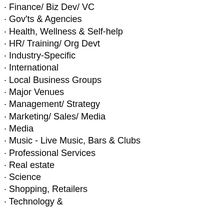· Finance/ Biz Dev/ VC
· Gov'ts & Agencies
· Health, Wellness & Self-help
· HR/ Training/ Org Devt
· Industry-Specific
· International
· Local Business Groups
· Major Venues
· Management/ Strategy
· Marketing/ Sales/ Media
· Media
· Music - Live Music, Bars & Clubs
· Professional Services
· Real estate
· Science
· Shopping, Retailers
· Technology &